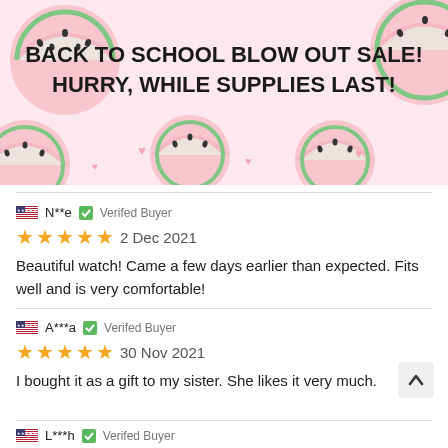[Figure (illustration): Banner with watermelon slice and heart decorations on pink background with bold sale text]
BACK TO SCHOOL BLOW OUT SALE!  HURRY, WHILE SUPPLIES LAST!
N**e  Verifed Buyer
★★★★★  2 Dec 2021
Beautiful watch! Came a few days earlier than expected. Fits well and is very comfortable!
A***a  Verifed Buyer
★★★★★  30 Nov 2021
I bought it as a gift to my sister. She likes it very much.
L***h  Verifed Buyer